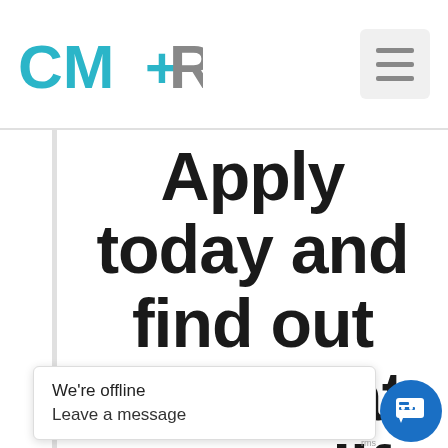[Figure (logo): CM+RE logo in teal/grey colors]
Apply today and find out how what you qualify for and what the rates will be
We're offline
Leave a message